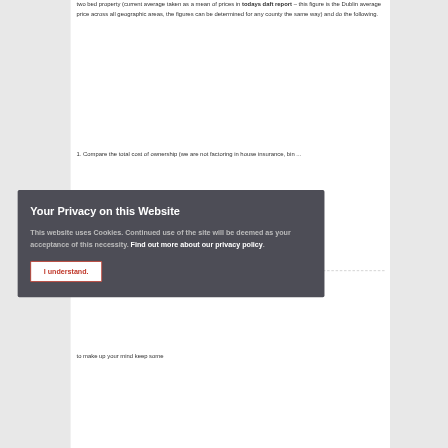two bed property (current average taken as a mean of prices in todays daft report – this figure is the Dublin average price across all geographic areas, the figures can be determined for any county the same way) and do the following.
1. Compare the total cost of ownership (we are not factoring in house insurance, bin ...
Your Privacy on this Website
This website uses Cookies. Continued use of the site will be deemed as your acceptance of this necessity. Find out more about our privacy policy.
I understand.
...g your ? This is e trying to make up your mind keep some